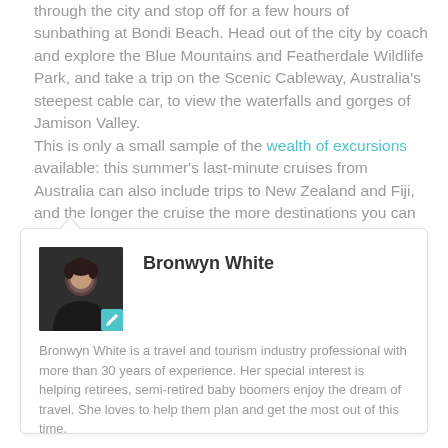through the city and stop off for a few hours of sunbathing at Bondi Beach. Head out of the city by coach and explore the Blue Mountains and Featherdale Wildlife Park, and take a trip on the Scenic Cableway, Australia's steepest cable car, to view the waterfalls and gorges of Jamison Valley.
This is only a small sample of the wealth of excursions available: this summer's last-minute cruises from Australia can also include trips to New Zealand and Fiji, and the longer the cruise the more destinations you can visit.
[Figure (photo): Author photo of Bronwyn White: a woman with short dark hair against a dark background, with a teal pencil/edit icon badge in the bottom-right corner of the photo.]
Bronwyn White
Bronwyn White is a travel and tourism industry professional with more than 30 years of experience.  Her special interest is helping retirees, semi-retired baby boomers enjoy the dream of travel.  She loves to help them plan and get the most out of this time.